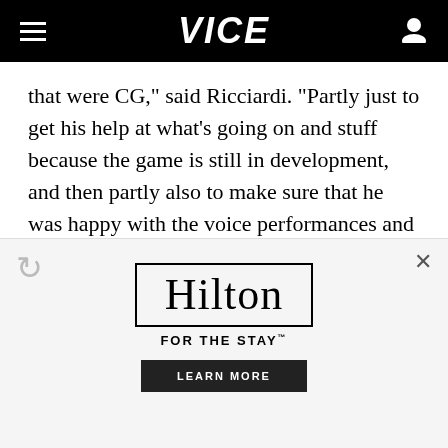VICE
that were CG," said Ricciardi. "Partly just to get his help at what's going on and stuff because the game is still in development, and then partly also to make sure that he was happy with the voice performances and could steer things in the right way."
Scrutinizing the voice acting is a practice that carried over to Nier Replicant, too. When Nier
[Figure (other): Hilton advertisement banner with 'Hilton FOR THE STAY' logo in a box and a 'LEARN MORE' button below]